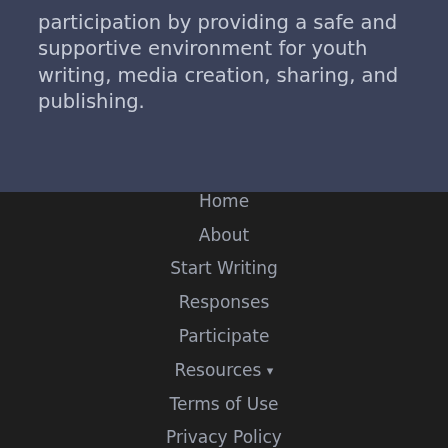participation by providing a safe and supportive environment for youth writing, media creation, sharing, and publishing.
Home
About
Start Writing
Responses
Participate
Resources ▾
Terms of Use
Privacy Policy